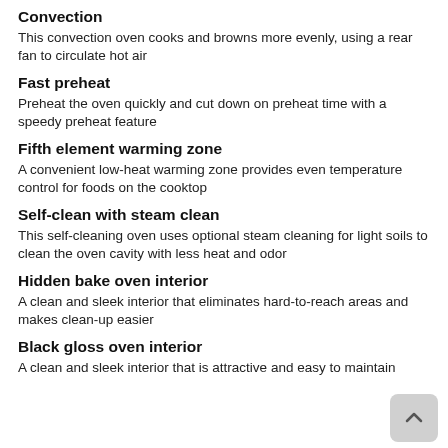Convection
This convection oven cooks and browns more evenly, using a rear fan to circulate hot air
Fast preheat
Preheat the oven quickly and cut down on preheat time with a speedy preheat feature
Fifth element warming zone
A convenient low-heat warming zone provides even temperature control for foods on the cooktop
Self-clean with steam clean
This self-cleaning oven uses optional steam cleaning for light soils to clean the oven cavity with less heat and odor
Hidden bake oven interior
A clean and sleek interior that eliminates hard-to-reach areas and makes clean-up easier
Black gloss oven interior
A clean and sleek interior that is attractive and easy to maintain